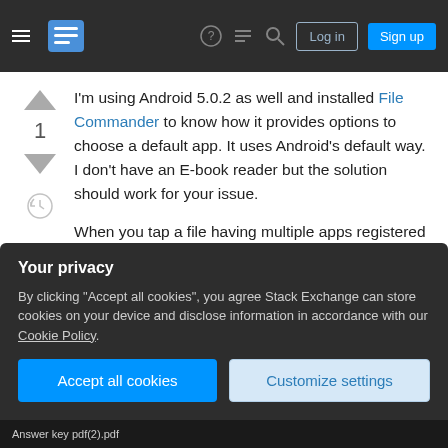Stack Exchange navigation bar with hamburger menu, logo, icons, Log in and Sign up buttons
I'm using Android 5.0.2 as well and installed File Commander to know how it provides options to choose a default app. It uses Android's default way. I don't have an E-book reader but the solution should work for your issue.
When you tap a file having multiple apps registered to open it and none set as default, you possibly would be shown options like:
(Click an image to enlarge it)
Your privacy
By clicking "Accept all cookies", you agree Stack Exchange can store cookies on your device and disclose information in accordance with our Cookie Policy.
Accept all cookies
Customize settings